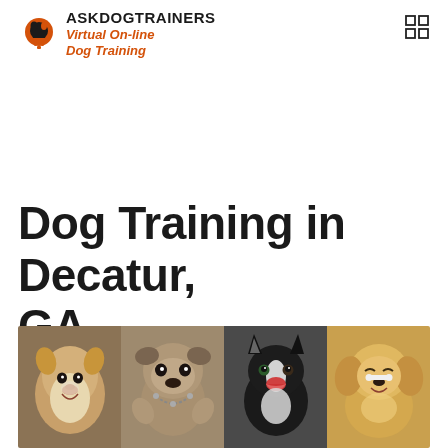ASKDOGTRAINERS Virtual On-line Dog Training
Dog Training in Decatur, GA.
[Figure (photo): Four dog photos side by side: a corgi, a pug, a border collie, and a golden retriever puppy]